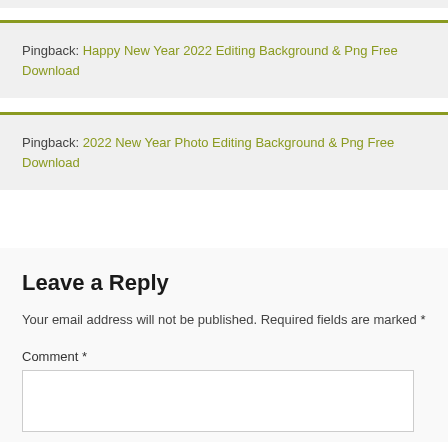Pingback: Happy New Year 2022 Editing Background & Png Free Download
Pingback: 2022 New Year Photo Editing Background & Png Free Download
Leave a Reply
Your email address will not be published. Required fields are marked *
Comment *